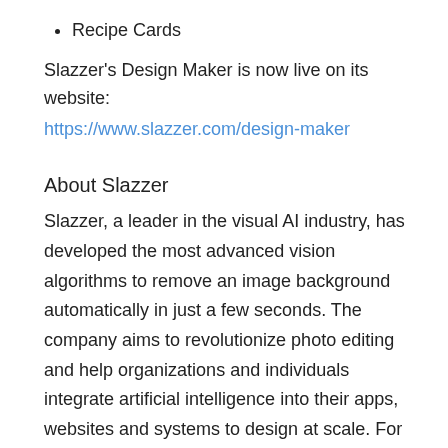Recipe Cards
Slazzer's Design Maker is now live on its website:
https://www.slazzer.com/design-maker
About Slazzer
Slazzer, a leader in the visual AI industry, has developed the most advanced vision algorithms to remove an image background automatically in just a few seconds. The company aims to revolutionize photo editing and help organizations and individuals integrate artificial intelligence into their apps, websites and systems to design at scale. For more information about Slazzer, visit: